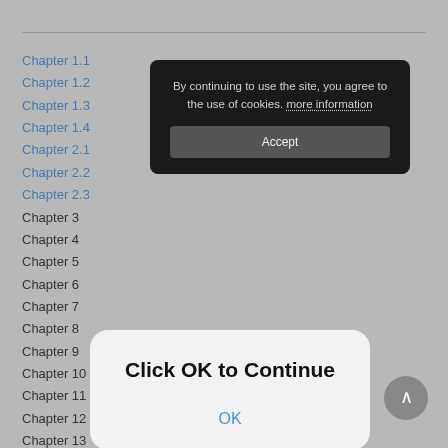Chapter 1.1
Chapter 1.2
Chapter 1.3
Chapter 1.4
Chapter 2.1
Chapter 2.2
Chapter 2.3
Chapter 3
Chapter 4
Chapter 5
Chapter 6
Chapter 7
Chapter 8
Chapter 9
Chapter 10
Chapter 11
Chapter 12
Chapter 13
[Figure (screenshot): Cookie consent popup with dark background saying 'By continuing to use the site, you agree to the use of cookies. more information' and an Accept button]
[Figure (screenshot): Modal dialog with white/light background showing 'Click OK to Continue' title and an OK button in blue]